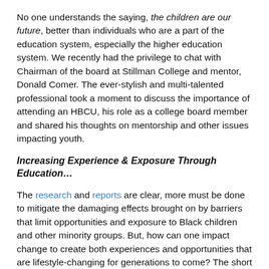No one understands the saying, the children are our future, better than individuals who are a part of the education system, especially the higher education system. We recently had the privilege to chat with Chairman of the board at Stillman College and mentor, Donald Comer. The ever-stylish and multi-talented professional took a moment to discuss the importance of attending an HBCU, his role as a college board member and shared his thoughts on mentorship and other issues impacting youth.
Increasing Experience & Exposure Through Education…
The research and reports are clear, more must be done to mitigate the damaging effects brought on by barriers that limit opportunities and exposure to Black children and other minority groups. But, how can one impact change to create both experiences and opportunities that are lifestyle-changing for generations to come? The short answer is to help younger generations see the world through a different lens. According to Comer, we need to create a sustainable...